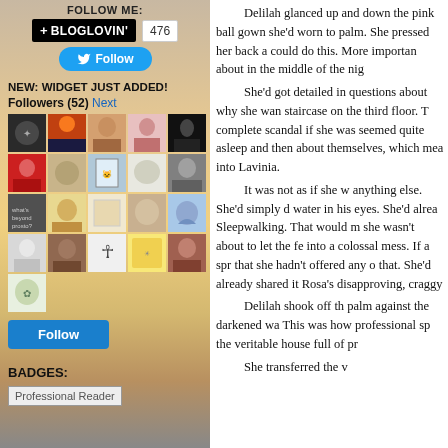FOLLOW ME:
[Figure (other): Bloglovin follow button with count 476]
[Figure (other): Twitter Follow button]
NEW: WIDGET JUST ADDED!
Followers (52) Next
[Figure (other): Grid of 21 follower avatar profile pictures]
[Figure (other): Blue Follow button]
BADGES:
[Figure (other): Professional Reader badge image]
Delilah glanced up and down the pink ball gown she'd worn to palm. She pressed her back a could do this. More importan about in the middle of the nig She'd got detailed in questions about why she wan staircase on the third floor. T complete scandal if she was seemed quite asleep and then about themselves, which mea into Lavinia. It was not as if she w anything else. She'd simply d water in his eyes. She'd alrea Sleepwalking. That would m she wasn't about to let the fe into a colossal mess. If a spr that she hadn't offered any o that. She'd already shared it Rosa's disapproving, craggy Delilah shook off th palm against the darkened wa This was how professional sp the veritable house full of pr She transferred the v